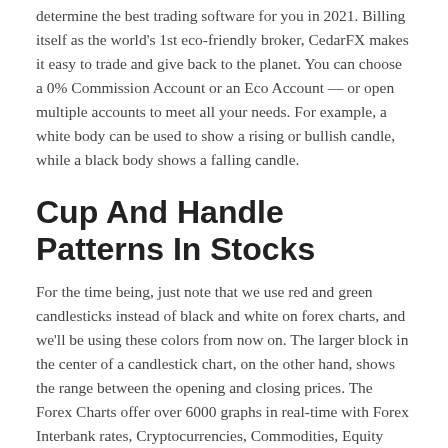determine the best trading software for you in 2021. Billing itself as the world's 1st eco-friendly broker, CedarFX makes it easy to trade and give back to the planet. You can choose a 0% Commission Account or an Eco Account — or open multiple accounts to meet all your needs. For example, a white body can be used to show a rising or bullish candle, while a black body shows a falling candle.
Cup And Handle Patterns In Stocks
For the time being, just note that we use red and green candlesticks instead of black and white on forex charts, and we'll be using these colors from now on. The larger block in the center of a candlestick chart, on the other hand, shows the range between the opening and closing prices. The Forex Charts offer over 6000 graphs in real-time with Forex Interbank rates, Cryptocurrencies, Commodities, Equity Indices and US stocks. It also presents a vast range of technical indicators as Linear Regression, CCI, ADX and many more. As such, while the